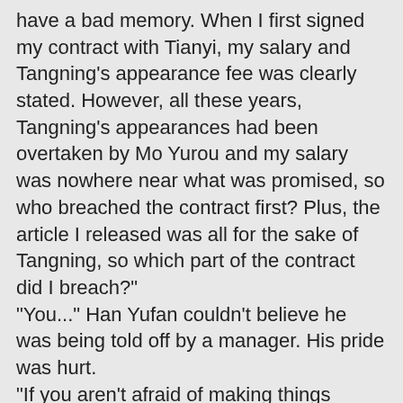have a bad memory. When I first signed my contract with Tianyi, my salary and Tangning's appearance fee was clearly stated. However, all these years, Tangning's appearances had been overtaken by Mo Yurou and my salary was nowhere near what was promised, so who breached the contract first? Plus, the article I released was all for the sake of Tangning, so which part of the contract did I breach?"
"You..." Han Yufan couldn't believe he was being told off by a manager. His pride was hurt.
"If you aren't afraid of making things worse, we can always take things to court, it doesn't matter to me. But, how many people in the industry will lose trust in